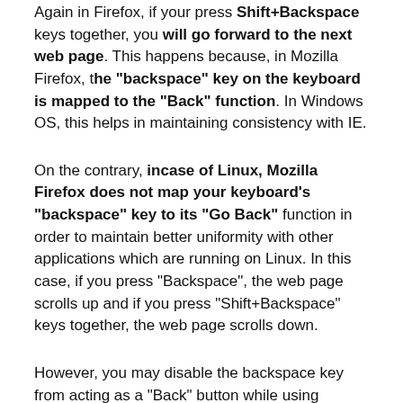Again in Firefox, if your press Shift+Backspace keys together, you will go forward to the next web page. This happens because, in Mozilla Firefox, the "backspace" key on the keyboard is mapped to the "Back" function. In Windows OS, this helps in maintaining consistency with IE.
On the contrary, incase of Linux, Mozilla Firefox does not map your keyboard's "backspace" key to its "Go Back" function in order to maintain better uniformity with other applications which are running on Linux. In this case, if you press "Backspace", the web page scrolls up and if you press "Shift+Backspace" keys together, the web page scrolls down.
However, you may disable the backspace key from acting as a "Back" button while using Firefox browser in Windows Operating System. Windows OS users can